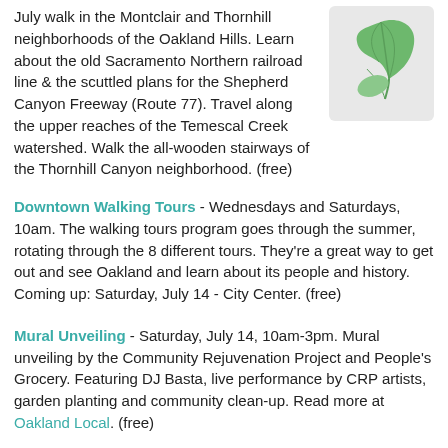July walk in the Montclair and Thornhill neighborhoods of the Oakland Hills. Learn about the old Sacramento Northern railroad line & the scuttled plans for the Shepherd Canyon Freeway (Route 77). Travel along the upper reaches of the Temescal Creek watershed. Walk the all-wooden stairways of the Thornhill Canyon neighborhood. (free)
[Figure (illustration): Green leaf logo on light gray background]
Downtown Walking Tours - Wednesdays and Saturdays, 10am. The walking tours program goes through the summer, rotating through the 8 different tours. They're a great way to get out and see Oakland and learn about its people and history. Coming up: Saturday, July 14 - City Center. (free)
Mural Unveiling - Saturday, July 14, 10am-3pm. Mural unveiling by the Community Rejuvenation Project and People's Grocery. Featuring DJ Basta, live performance by CRP artists, garden planting and community clean-up. Read more at Oakland Local. (free)
OPR Open House at Lake Merritt - Saturday, July 14, 11am-3pm. The Oakland Parks and Recs department is